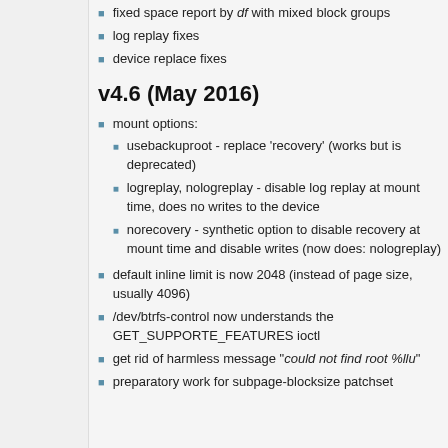fixed space report by df with mixed block groups
log replay fixes
device replace fixes
v4.6 (May 2016)
mount options:
usebackuproot - replace 'recovery' (works but is deprecated)
logreplay, nologreplay - disable log replay at mount time, does no writes to the device
norecovery - synthetic option to disable recovery at mount time and disable writes (now does: nologreplay)
default inline limit is now 2048 (instead of page size, usually 4096)
/dev/btrfs-control now understands the GET_SUPPORTE_FEATURES ioctl
get rid of harmless message "could not find root %llu"
preparatory work for subpage-blocksize patchset